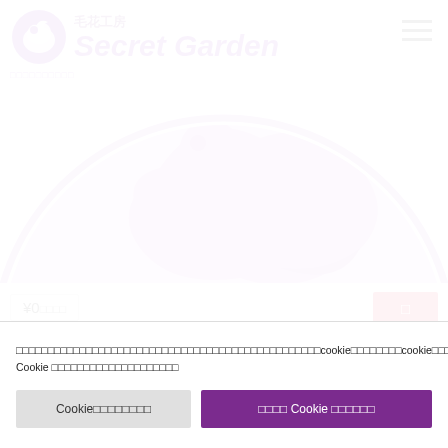[Figure (logo): Secret Garden logo with purple circle containing a bird/flower design, Japanese text 毛花工房 and English text Secret Garden in purple]
[Figure (illustration): Large purple circle with stylized bird/flower illustration, partially cropped at top]
¥0□□□□
□
[Figure (illustration): Partial purple semicircle/dome shape at bottom, second product image]
□□□□□□□□□□□□□□□□□□□□□□□□□□□□□□□□□□□cookie□□□□□□□□cookie□□□□□□□□□□□□□□□□ Cookie □□□□□□□□□□□□□□□□□□□□
Cookie□□□□□□□□
□□□□ Cookie □□□□□□